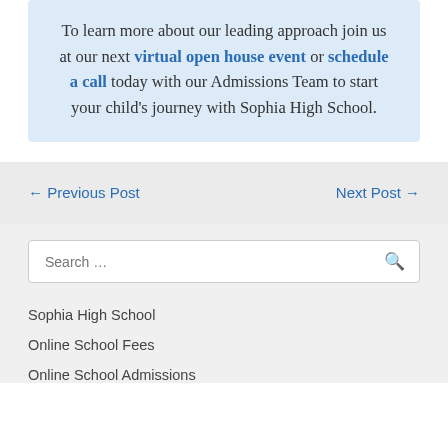To learn more about our leading approach join us at our next virtual open house event or schedule a call today with our Admissions Team to start your child's journey with Sophia High School.
← Previous Post
Next Post →
Search …
Sophia High School
Online School Fees
Online School Admissions